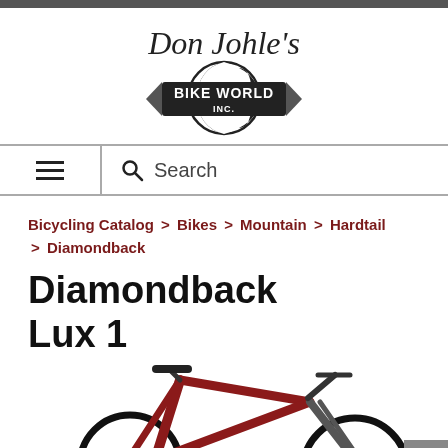[Figure (logo): Don Johle's Bike World Inc. logo — cursive text 'Don Johle's' above a circular globe graphic with a banner reading 'BIKE WORLD INC.']
≡  🔍 Search
Bicycling Catalog > Bikes > Mountain > Hardtail > Diamondback
Diamondback Lux 1
[Figure (photo): Photo of a red Diamondback Lux 1 mountain bike (hardtail), partially cropped at bottom. The bike is shown from the right side with a suspension fork, flat handlebar, and saddle visible.]